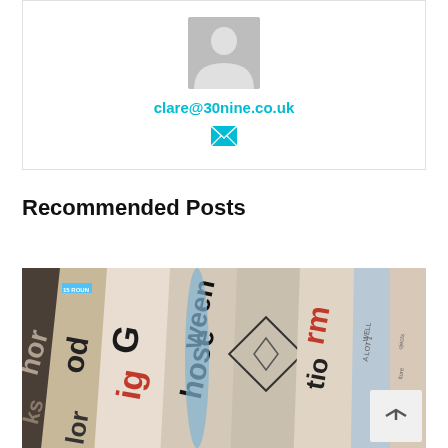[Figure (illustration): Grey placeholder avatar/person silhouette icon inside a white card with border]
clare@30nine.co.uk
[Figure (illustration): Small cyan/teal envelope icon]
Recommended Posts
[Figure (photo): Close-up photo of rolled/folded newspapers stacked together showing partial headlines and text]